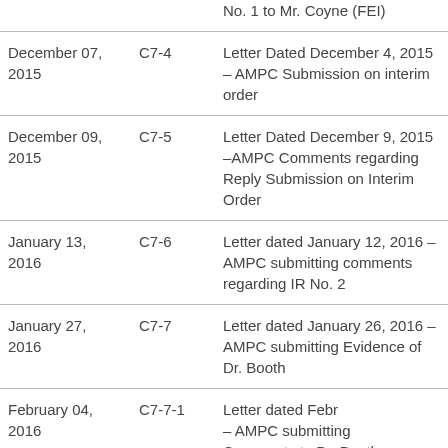| Date | Code | Description |
| --- | --- | --- |
|  |  | No. 1 to Mr. Coyne (FEI) |
| December 07, 2015 | C7-4 | Letter Dated December 4, 2015 – AMPC Submission on interim order |
| December 09, 2015 | C7-5 | Letter Dated December 9, 2015 –AMPC Comments regarding Reply Submission on Interim Order |
| January 13, 2016 | C7-6 | Letter dated January 12, 2016 – AMPC submitting comments regarding IR No. 2 |
| January 27, 2016 | C7-7 | Letter dated January 26, 2016 – AMPC submitting Evidence of Dr. Booth |
| February 04, 2016 | C7-7-1 | Letter dated Febr... – AMPC submitting Comments to Dr. Booth... |